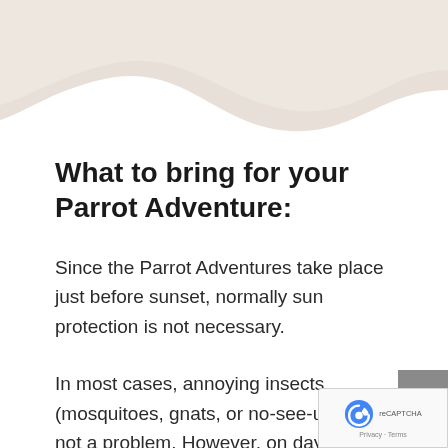[Figure (illustration): Decorative wave shape background at top of page in beige/tan color]
What to bring for your Parrot Adventure:
Since the Parrot Adventures take place just before sunset, normally sun protection is not necessary.
In most cases, annoying insects (mosquitoes, gnats, or no-see-ums) are not a problem. However, on days